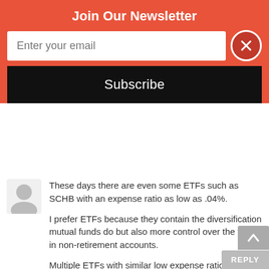Join Our Newsletter
Enter your email
Subscribe
These days there are even some ETFs such as SCHB with an expense ratio as low as .04%.
I prefer ETFs because they contain the diversification mutual funds do but also more control over the tax hit in non-retirement accounts.
Multiple ETFs with similar low expense ratios for a variety of investing strategies can be found at: etfdb.com compare/lowest l expenses ratio/